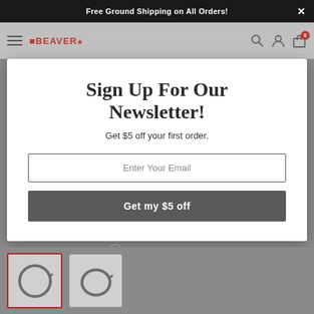Free Ground Shipping on All Orders!
[Figure (screenshot): Website navigation bar with hamburger menu, BlazerBeaver logo, search icon, account icon, and cart icon with badge showing 0]
Sign Up For Our Newsletter!
Get $5 off your first order.
Enter Your Email
Get my $5 off
Click on image to zoom
[Figure (photo): Two thumbnail images of a cable/wire loop product, first one selected with red border]